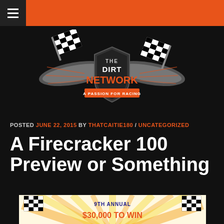Navigation bar with hamburger menu and orange header
[Figure (logo): The Dirt Network logo — checkered flags, wings, shield, text reading 'THE DIRT NETWORK A PASSION FOR RACING' on dark background]
POSTED JUNE 22, 2015 BY THATCAITIE180 / UNCATEGORIZED
A Firecracker 100 Preview or Something
[Figure (illustration): 9th Annual Firecracker 100 promotional graphic with checkered flags, patriotic decorations, sunburst orange/yellow rays, text reading '9TH ANNUAL $30,000 TO WIN']